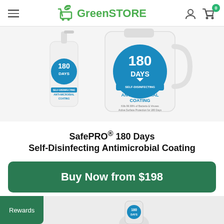GreenSTORE
[Figure (photo): Two product containers for SafePRO 180 Days Self-Disinfecting Antimicrobial Coating — a small spray bottle on the left and a large jug on the right, both white with blue badge labeling '180 DAYS SELF-DISINFECTING ANTI-MICROBIAL COATING']
SafePRO® 180 Days Self-Disinfecting Antimicrobial Coating
Buy Now from $198
Rewards